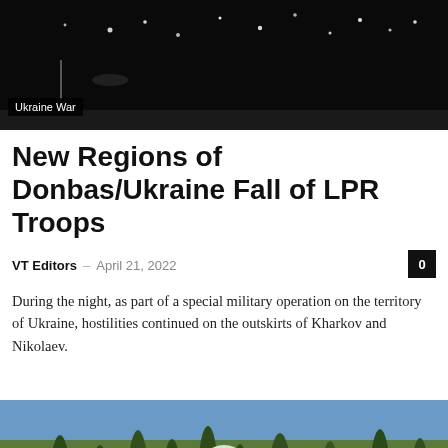[Figure (photo): Dark night sky image with lights, used as article header image for Ukraine War article]
Ukraine War
New Regions of Donbas/Ukraine Fall of LPR Troops
VT Editors – April 21, 2022
During the night, as part of a special military operation on the territory of Ukraine, hostilities continued on the outskirts of Kharkov and Nikolaev.
[Figure (photo): Man with sunglasses and beard outdoors with trees in background, video thumbnail with play button overlay]
Life